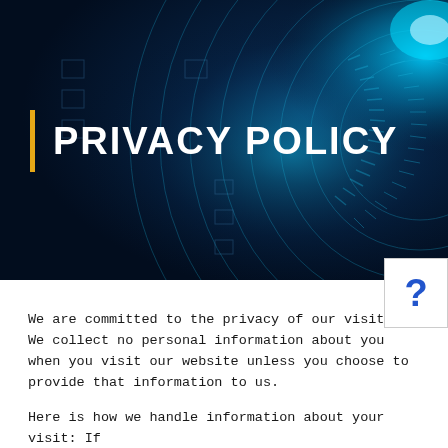[Figure (illustration): Dark navy blue background with abstract circular cybersecurity/technology graphic featuring concentric rings, radial lines, and a glowing cyan/teal light effect suggesting a vault or digital lock mechanism]
PRIVACY POLICY
We are committed to the privacy of our visitors. We collect no personal information about you when you visit our website unless you choose to provide that information to us.
Here is how we handle information about your visit: If